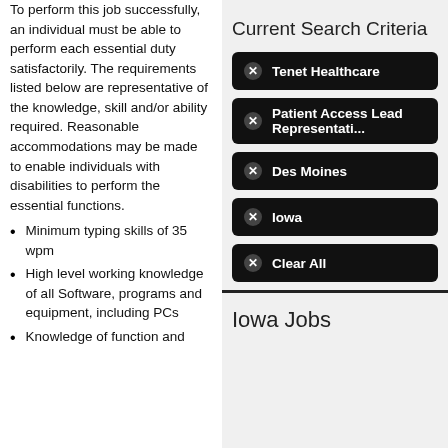To perform this job successfully, an individual must be able to perform each essential duty satisfactorily. The requirements listed below are representative of the knowledge, skill and/or ability required. Reasonable accommodations may be made to enable individuals with disabilities to perform the essential functions.
Minimum typing skills of 35 wpm
High level working knowledge of all Software, programs and equipment, including PCs
Knowledge of function and
Current Search Criteria
Tenet Healthcare
Patient Access Lead Representati...
Des Moines
Iowa
Clear All
Iowa Jobs